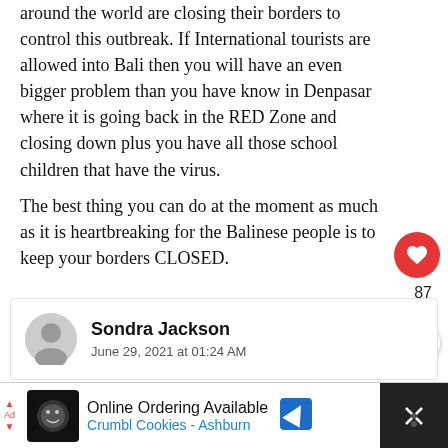around the world are closing their borders to control this outbreak. If International tourists are allowed into Bali then you will have an even bigger problem than you have know in Denpasar where it is going back in the RED Zone and closing down plus you have all those school children that have the virus.
The best thing you can do at the moment as much as it is heartbreaking for the Balinese people is to keep your borders CLOSED.
↩ Reply
87
Sondra Jackson
June 29, 2021 at 01:24 AM
Online Ordering Available
Crumbl Cookies - Ashburn